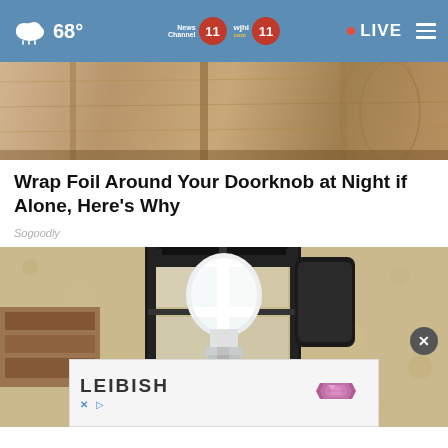68° News Channel 11 wjhl.com 11 LIVE
[Figure (photo): Top portion of a door or ceiling with wood paneling, close-up shot]
Wrap Foil Around Your Doorknob at Night if Alone, Here's Why
Sogoodly
[Figure (photo): Outdoor wall-mounted lantern light fixture with a white bulb, mounted on a textured stucco wall, with an advertisement banner at the bottom for LEIBISH with a pink gemstone, and a close button overlay]